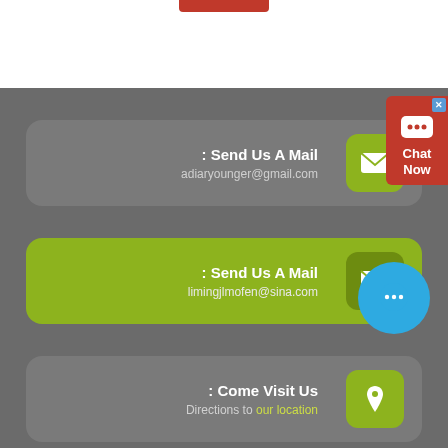[Figure (screenshot): Red bar at top of page, partial UI element]
[Figure (infographic): Chat Now red widget in top right corner with X close button and chat bubble icon]
Send Us A Mail: adiaryounger@gmail.com
Send Us A Mail: limingjlmofen@sina.com
[Figure (infographic): Blue chat circle with ellipsis dots icon]
Come Visit Us: Directions to our location